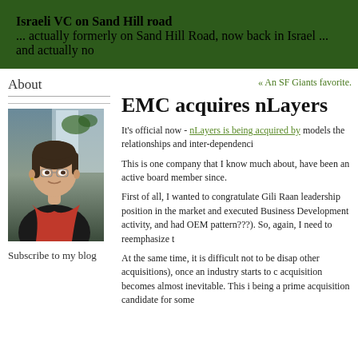Israeli VC on Sand Hill road
... actually formerly on Sand Hill Road, now back in Israel ... and actually no
About
« An SF Giants favorite.
[Figure (photo): Portrait photo of a woman with short dark hair, glasses, wearing a black top and red scarf, seated, with a plant and window in the background]
Subscribe to my blog
EMC acquires nLayers
It's official now - nLayers is being acquired by models the relationships and inter-dependenci
This is one company that I know much about, have been an active board member since.
First of all, I wanted to congratulate Gili Raan leadership position in the market and executed Business Development activity, and had OEM pattern???). So, again, I need to reemphasize t
At the same time, it is difficult not to be disap other acquisitions), once an industry starts to c acquisition becomes almost inevitable.  This i being a prime acquisition candidate for some